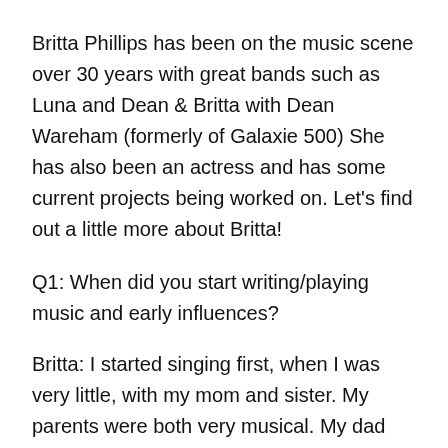Britta Phillips has been on the music scene over 30 years with great bands such as Luna and Dean & Britta with Dean Wareham (formerly of Galaxie 500) She has also been an actress and has some current projects being worked on. Let's find out a little more about Britta!
Q1: When did you start writing/playing music and early influences?
Britta: I started singing first, when I was very little, with my mom and sister. My parents were both very musical. My dad was a professional